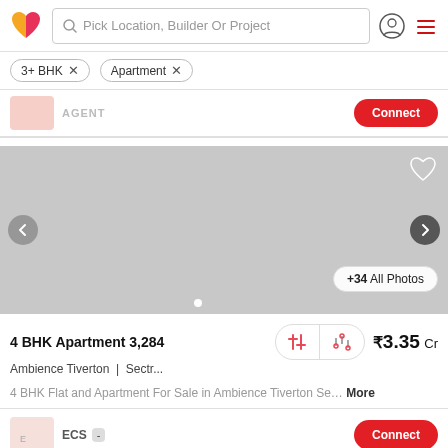Pick Location, Builder Or Project
3+ BHK ×
Apartment ×
AGENT
[Figure (photo): Property listing image carousel placeholder (grey background) with heart/favorite button, previous/next navigation arrows, +34 All Photos button, and pagination dots]
4 BHK Apartment 3,284
₹3.35 Cr
Ambience Tiverton | Sectr...
4 BHK Flat and Apartment For Sale in Ambience Tiverton Se…  More
ECS
Connect